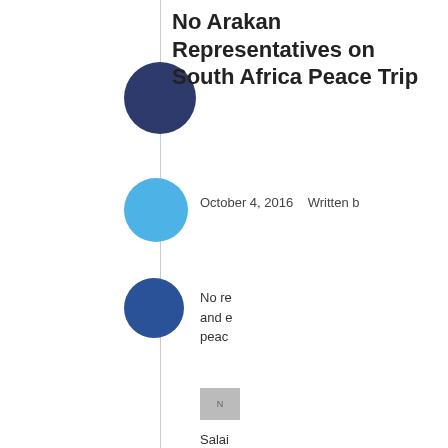No Arakan Representatives on South Africa Peace Trip
October 4, 2016    Written by
No re... and e... peac...
[Figure (photo): Small thumbnail image placeholder labeled N]
Salai
Repr... Indep... (KNP... Shan...